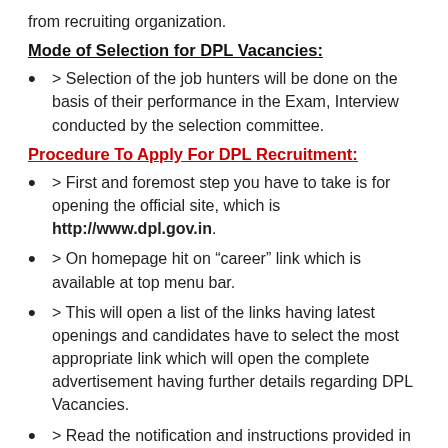from recruiting organization.
Mode of Selection for DPL Vacancies:
> Selection of the job hunters will be done on the basis of their performance in the Exam, Interview conducted by the selection committee.
Procedure To Apply For DPL Recruitment:
> First and foremost step you have to take is for opening the official site, which is http://www.dpl.gov.in.
> On homepage hit on “career” link which is available at top menu bar.
> This will open a list of the links having latest openings and candidates have to select the most appropriate link which will open the complete advertisement having further details regarding DPL Vacancies.
> Read the notification and instructions provided in